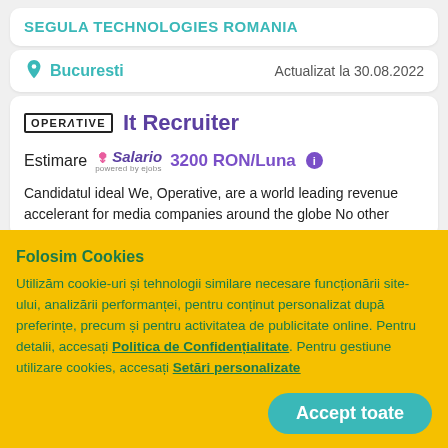SEGULA TECHNOLOGIES ROMANIA
Bucuresti   Actualizat la 30.08.2022
It Recruiter
Estimare   3200 RON/Luna
Candidatul ideal We, Operative, are a world leading revenue accelerant for media companies around the globe No other
Folosim Cookies
Utilizăm cookie-uri și tehnologii similare necesare funcționării site-ului, analizării performanței, pentru conținut personalizat după preferințe, precum și pentru activitatea de publicitate online. Pentru detalii, accesați Politica de Confidențialitate. Pentru gestiune utilizare cookies, accesați Setări personalizate
Accept toate